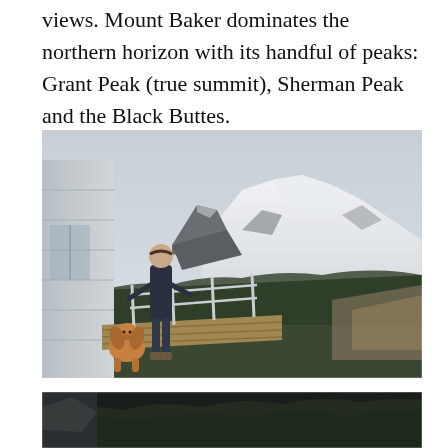views. Mount Baker dominates the northern horizon with its handful of peaks: Grant Peak (true summit), Sherman Peak and the Black Buttes.
[Figure (photo): A woman stands on a wooden deck railing of a fire lookout building, with a golden/brown dog sitting beside her. Behind them is a dramatic view of snow-covered Mount Baker with forested slopes and valleys below under an overcast sky.]
[Figure (photo): Partial view of another photograph at the bottom of the page, showing a dark mountainous or forested scene.]